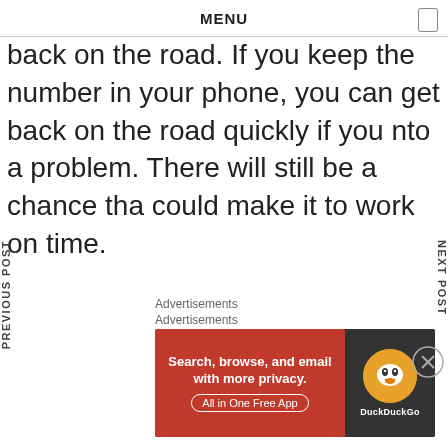MENU
back on the road. If you keep the number in your phone, you can get back on the road quickly if you nto a problem. There will still be a chance tha could make it to work on time.
se are just a few tips for increasing efficiency oad when it means the most to your job. Sta g those tips, and then you will think of better s to improve your efficiency and keep your reliability in an above-average state.
PREVIOUS POST
NEXT POST
Advertisements
Advertisements
[Figure (screenshot): DuckDuckGo advertisement banner: orange/red background on left with text 'Search, browse, and email with more privacy. All in One Free App', dark background on right with DuckDuckGo duck logo and brand name.]